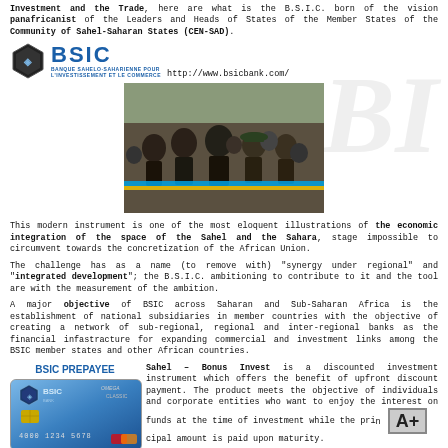Investment and the Trade, here are what is the B.S.I.C. born of the vision panafricanist of the Leaders and Heads of States of the Member States of the Community of Sahel-Saharan States (CEN-SAD).
[Figure (logo): BSIC logo with hexagonal emblem and text 'BANQUE SAHELO-SAHARIENNE POUR L'INVESTISSEMENT ET LE COMMERCE' and URL http://www.bsicbank.com/]
[Figure (photo): Photo of officials cutting a ribbon at what appears to be a BSIC bank opening ceremony]
This modern instrument is one of the most eloquent illustrations of the economic integration of the space of the Sahel and the Sahara, stage impossible to circumvent towards the concretization of the African Union.
The challenge has as a name (to remove with) "synergy under regional" and "integrated development"; the B.S.I.C. ambitioning to contribute to it and the tool are with the measurement of the ambition.
A major objective of BSIC across Saharan and Sub-Saharan Africa is the establishment of national subsidiaries in member countries with the objective of creating a network of sub-regional, regional and inter-regional banks as the financial infastracture for expanding commercial and investment links among the BSIC member states and other African countries.
Sahel – Bonus Invest is a discounted investment instrument which offers the benefit of upfront discount payment. The product meets the objective of individuals and corporate entities who want to enjoy the interest on funds at the time of investment while the principal amount is paid upon maturity.
[Figure (illustration): BSIC PREPAYEE card image showing a blue credit card with BSIC logo, chip, and card number 4000 1234 5678]
[Figure (other): A+ rating box]